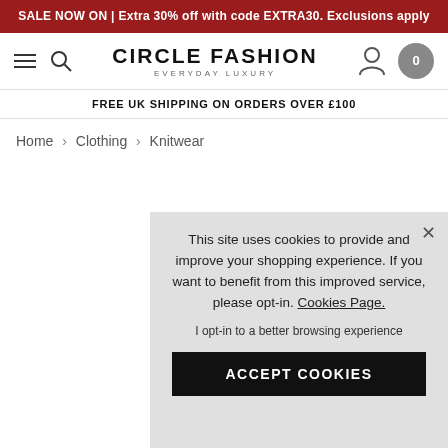SALE NOW ON | Extra 30% off with code EXTRA30. Exclusions apply
[Figure (screenshot): Circle Fashion navigation bar with hamburger menu, search icon, Circle Fashion logo with tagline EVERYDAY LUXURY, user account icon, and shopping cart with 0 items]
FREE UK SHIPPING ON ORDERS OVER £100
Home › Clothing › Knitwear
This site uses cookies to provide and improve your shopping experience. If you want to benefit from this improved service, please opt-in. Cookies Page.

I opt-in to a better browsing experience

ACCEPT COOKIES